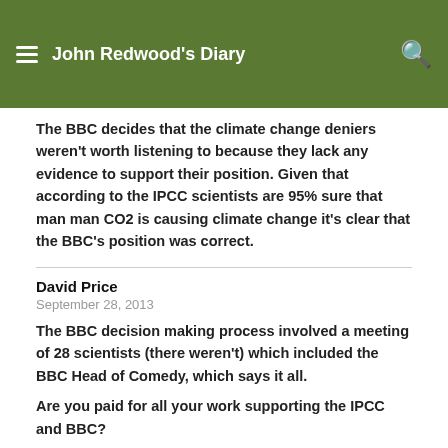John Redwood's Diary
The BBC decides that the climate change deniers weren't worth listening to because they lack any evidence to support their position. Given that according to the IPCC scientists are 95% sure that man man CO2 is causing climate change it's clear that the BBC's position was correct.
David Price
September 28, 2013
The BBC decision making process involved a meeting of 28 scientists (there weren't) which included the BBC Head of Comedy, which says it all.
Are you paid for all your work supporting the IPCC and BBC?